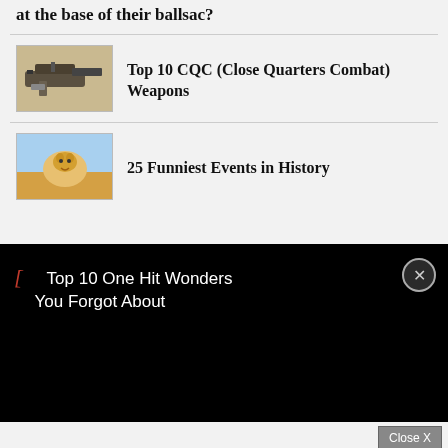at the base of their ballsac?
[Figure (photo): A compact submachine gun or assault rifle on a tan/khaki background]
Top 10 CQC (Close Quarters Combat) Weapons
[Figure (photo): A goat or animal with colorful sky background]
25 Funniest Events in History
[Figure (screenshot): Video player overlay bar on black background showing 'Top 10 One Hit Wonders You Forgot About' with a red bracket icon and close X button]
Top 10 One Hit Wonders You Forgot About
[Figure (screenshot): Advertisement banner for 'FORBIDDEN Desire' game with purple/magenta background, silhouette of woman, and Play Now button]
Close X
FORBIDDEN Desire PLAY NOW